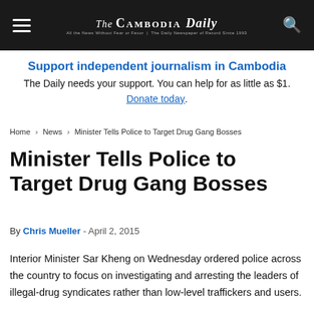The Cambodia Daily
Support independent journalism in Cambodia
The Daily needs your support. You can help for as little as $1.
Donate today.
Home > News > Minister Tells Police to Target Drug Gang Bosses
Minister Tells Police to Target Drug Gang Bosses
By Chris Mueller - April 2, 2015
Interior Minister Sar Kheng on Wednesday ordered police across the country to focus on investigating and arresting the leaders of illegal-drug syndicates rather than low-level traffickers and users.
Speaking at the close of the annual meeting of the National